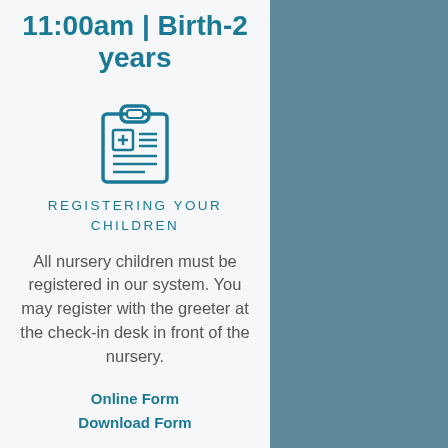11:00am | Birth-2 years
[Figure (illustration): Clipboard icon with a plus sign and lines, teal/blue outline style]
REGISTERING YOUR CHILDREN
All nursery children must be registered in our system. You may register with the greeter at the check-in desk in front of the nursery.
Online Form
Download Form